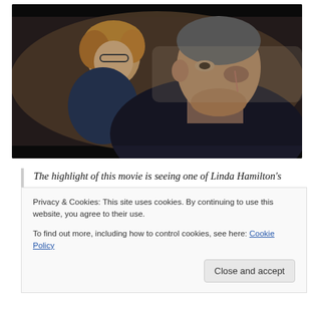[Figure (photo): A movie still showing two people — a man with a bruised/scratched face in the foreground wearing a dark jacket, and a woman with curly blonde hair in the background, seated in what appears to be a vehicle interior. The image has a dark black background/letterbox.]
The highlight of this movie is seeing one of Linda Hamilton's boobs in the love making scene .
Privacy & Cookies: This site uses cookies. By continuing to use this website, you agree to their use.
To find out more, including how to control cookies, see here: Cookie Policy
Close and accept